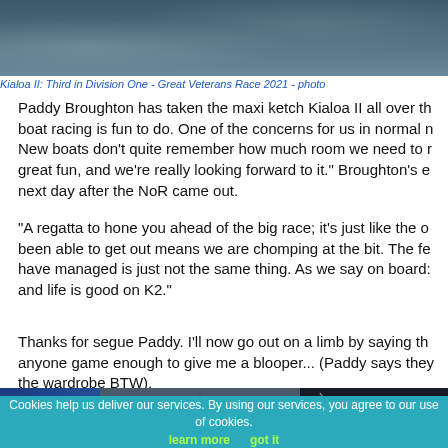[Figure (photo): Ocean water surface with waves, grey-blue tones]
Kialoa II: Third in Division One - Great Veterans Race 2021 - photo
Paddy Broughton has taken the maxi ketch Kialoa II all over th boat racing is fun to do. One of the concerns for us in normal n New boats don't quite remember how much room we need to great fun, and we're really looking forward to it." Broughton's e next day after the NoR came out.
"A regatta to hone you ahead of the big race; it's just like the o been able to get out means we are chomping at the bit. The fe have managed is just not the same thing. As we say on board: and life is good on K2."
Thanks for segue Paddy. I'll now go out on a limb by saying th anyone game enough to give me a blooper... (Paddy says they the wardrobe BTW).
[Figure (photo): Two sailing photos side by side - blue sail and dark sail rigging]
Cookies help us deliver our services. By using our services, you agree to our use of cookies.  learn more  got it